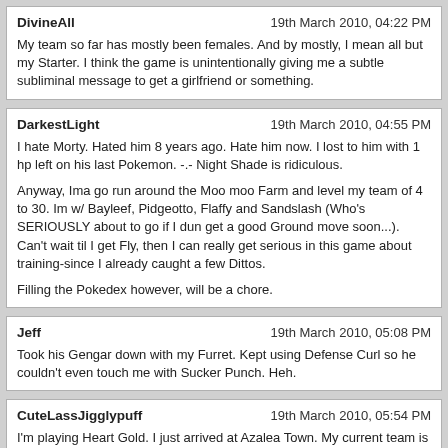DivineAll | 19th March 2010, 04:22 PM
My team so far has mostly been females. And by mostly, I mean all but my Starter. I think the game is unintentionally giving me a subtle subliminal message to get a girlfriend or something.
DarkestLight | 19th March 2010, 04:55 PM
I hate Morty. Hated him 8 years ago. Hate him now. I lost to him with 1 hp left on his last Pokemon. -.- Night Shade is ridiculous.

Anyway, Ima go run around the Moo moo Farm and level my team of 4 to 30. Im w/ Bayleef, Pidgeotto, Flaffy and Sandslash (Who's SERIOUSLY about to go if I dun get a good Ground move soon...). Can't wait til I get Fly, then I can really get serious in this game about training-since I already caught a few Dittos.

Filling the Pokedex however, will be a chore.
Jeff | 19th March 2010, 05:08 PM
Took his Gengar down with my Furret. Kept using Defense Curl so he couldn't even touch me with Sucker Punch. Heh.
CuteLassJigglypuff | 19th March 2010, 05:54 PM
I'm playing Heart Gold. I just arrived at Azalea Town. My current team is Bayleef, Jirachi, Butterfree, Flaffy, Pidgey and Togetic.
abunaidesu | 20th March 2010, 12:18 AM
http://icestrike.net/images/data/photo1.jpg